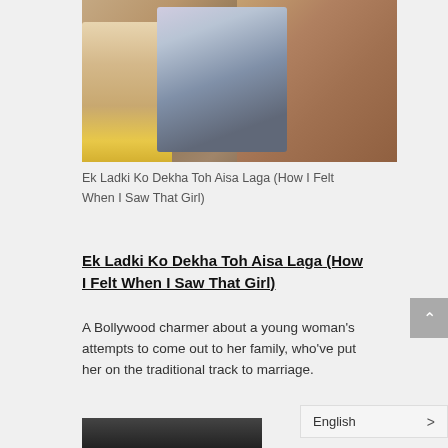[Figure (photo): Two women in traditional South Asian attire sitting together outdoors near stone ruins. One wears a cream/beige outfit, the other wears a dark blue patterned outfit. A yellow garment is visible at the bottom left. Rocky background.]
Ek Ladki Ko Dekha Toh Aisa Laga (How I Felt When I Saw That Girl)
Ek Ladki Ko Dekha Toh Aisa Laga (How I Felt When I Saw That Girl)
A Bollywood charmer about a young woman's attempts to come out to her family, who've put her on the traditional track to marriage.
[Figure (photo): Partial view of another image at the bottom of the page, dark tones.]